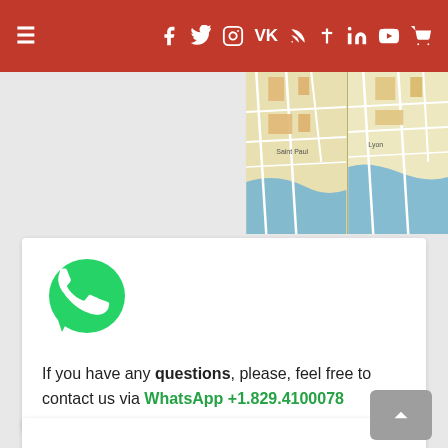≡ Facebook Twitter Instagram VK RSS Cross LinkedIn YouTube Cart
[Figure (map): Two map tiles showing a city area with streets, buildings, and a river (Saint-Paul area)]
[Figure (logo): WhatsApp green phone logo]
If you have any questions, please, feel free to contact us via WhatsApp +1.829.4100078